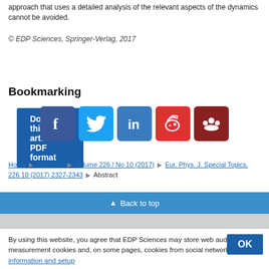approach that uses a detailed analysis of the relevant aspects of the dynamics cannot be avoided.
© EDP Sciences, Springer-Verlag, 2017
Download this article in PDF format
Bookmarking
[Figure (other): Social media sharing icons: Facebook, Twitter, LinkedIn, Weibo, Mendeley]
Home ▶ All issues ▶ Volume 226 / No 10 (2017) ▶ Eur. Phys. J. Special Topics, 226 10 (2017) 2327-2343 ▶ Abstract
▲ Back to top
Mobile site | Classic site
By using this website, you agree that EDP Sciences may store web audience measurement cookies and, on some pages, cookies from social networks. More information and setup